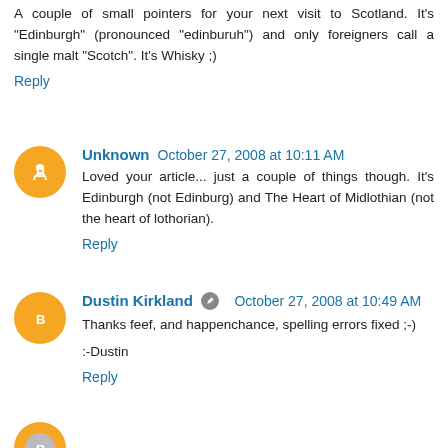A couple of small pointers for your next visit to Scotland. It's "Edinburgh" (pronounced "edinburuh") and only foreigners call a single malt "Scotch". It's Whisky ;)
Reply
Unknown  October 27, 2008 at 10:11 AM
Loved your article... just a couple of things though. It's Edinburgh (not Edinburg) and The Heart of Midlothian (not the heart of lothorian).
Reply
Dustin Kirkland  October 27, 2008 at 10:49 AM
Thanks feef, and happenchance, spelling errors fixed ;-)
:-Dustin
Reply